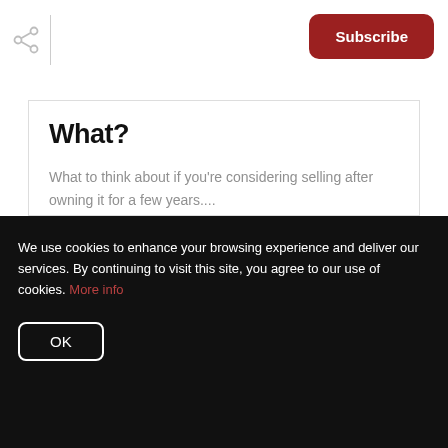Subscribe
What?
What to think about if you're considering selling after owning it for a few years....
READ MORE
We use cookies to enhance your browsing experience and deliver our services. By continuing to visit this site, you agree to our use of cookies. More info
OK